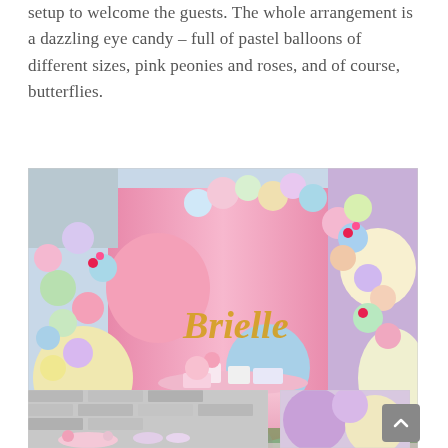setup to welcome the guests. The whole arrangement is a dazzling eye candy – full of pastel balloons of different sizes, pink peonies and roses, and of course, butterflies.
[Figure (photo): A birthday party dessert table setup with pastel balloons of various sizes arranged in garland form, pink peonies and roses, and a large pink backdrop with the name 'Brielle' in gold script lettering. The table is draped in pink tulle with cakes, cupcakes, and treats displayed.]
[Figure (photo): Bottom left partial image showing a decorative setup with gray brick wall background and pink and butterfly decorations.]
[Figure (photo): Bottom right partial image showing large pastel purple and cream balloons.]